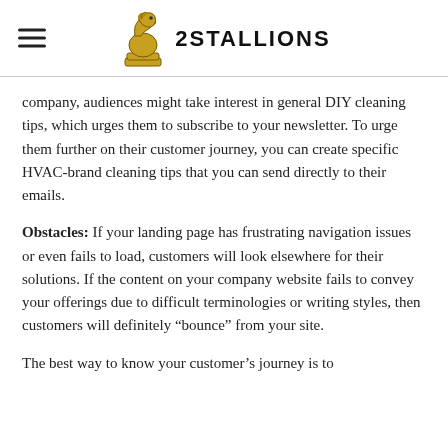2Stallions
company, audiences might take interest in general DIY cleaning tips, which urges them to subscribe to your newsletter. To urge them further on their customer journey, you can create specific HVAC-brand cleaning tips that you can send directly to their emails.
Obstacles: If your landing page has frustrating navigation issues or even fails to load, customers will look elsewhere for their solutions. If the content on your company website fails to convey your offerings due to difficult terminologies or writing styles, then customers will definitely “bounce” from your site.
The best way to know your customer’s journey is to